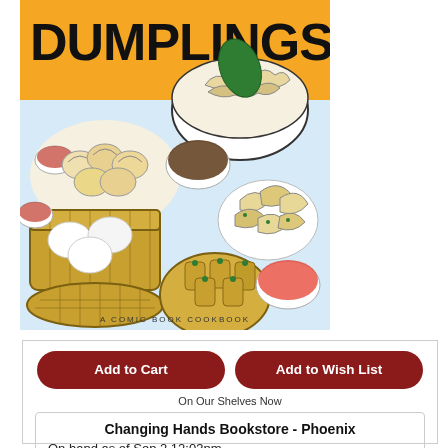[Figure (illustration): Book cover of 'Dumplings! A Comic Book Cookbook' showing colorful illustrated dumplings, dim sum, steamer baskets, and dipping sauces on an orange and light blue background.]
Add to Cart
Add to Wish List
On Our Shelves Now
Changing Hands Bookstore - Phoenix
On hand as of Sep 2 12:03pm